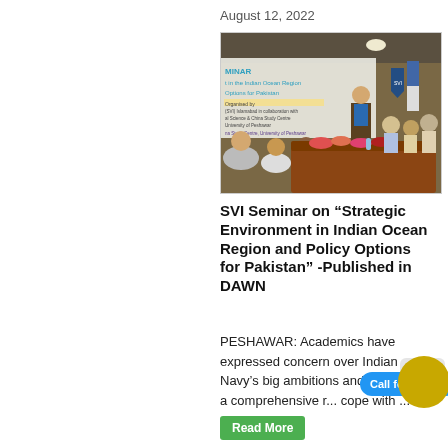August 12, 2022
[Figure (photo): Photo of a seminar room with attendees seated around a table with flowers, a speaker at a podium, and a banner reading 'Seminar - Strategic Environment in the Indian Ocean Region Policy Options for Pakistan']
SVI Seminar on “Strategic Environment in Indian Ocean Region and Policy Options for Pakistan” -Published in DAWN
PESHAWAR: Academics have expressed concern over Indian Navy’s big ambitions and called for a comprehensive r... cope with ...
Call for Papers
Read More